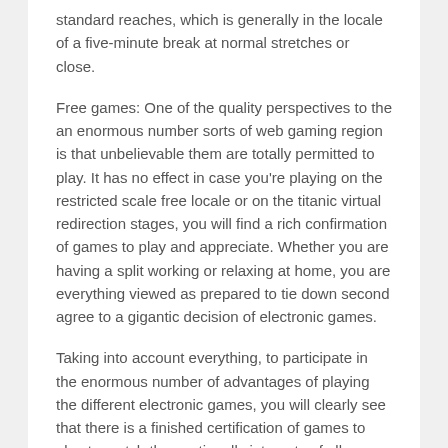standard reaches, which is generally in the locale of a five-minute break at normal stretches or close.
Free games: One of the quality perspectives to the an enormous number sorts of web gaming region is that unbelievable them are totally permitted to play. It has no effect in case you're playing on the restricted scale free locale or on the titanic virtual redirection stages, you will find a rich confirmation of games to play and appreciate. Whether you are having a split working or relaxing at home, you are everything viewed as prepared to tie down second agree to a gigantic decision of electronic games.
Taking into account everything, to participate in the enormous number of advantages of playing the different electronic games, you will clearly see that there is a finished certification of games to play to match the continually interests of all gaming dears....
Uncategorized